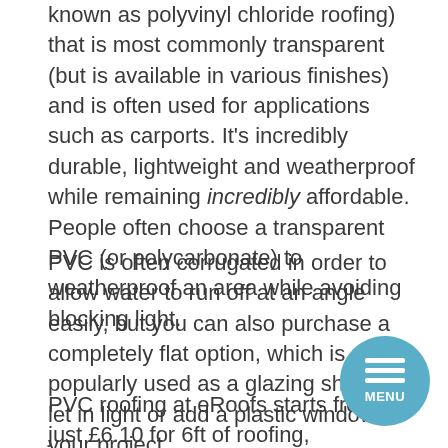known as polyvinyl chloride roofing) that is most commonly transparent (but is available in various finishes) and is often used for applications such as carports. It's incredibly durable, lightweight and weatherproof while remaining incredibly affordable. People often choose a transparent PVC (or polycarbonate) to weatherproof an area while avoiding blocking light.
PVC is often corrugated in order to allow water to run off at an angle easily, but you can also purchase a completely flat option, which is popularly used as a glazing sheet to let in light or add a plastic window to your project.
PVC roofing at eRoofs starts from just £6.10 for 6ft of roofing, making it incredibly affordable, and you can choose from a variety of